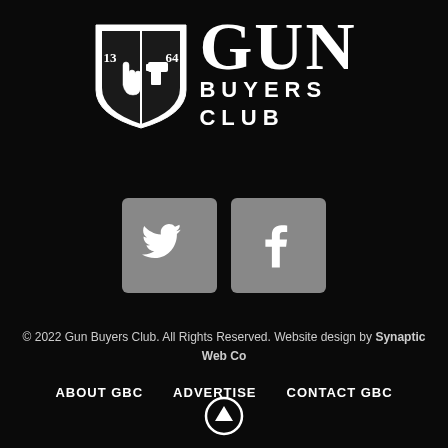[Figure (logo): Gun Buyers Club logo with shield emblem showing hand and gun icons with numbers 13 and 64, and large GUN BUYERS CLUB text]
[Figure (infographic): Two social media icon buttons: Twitter (bird icon) and Facebook (f icon), both on gray rounded rectangle backgrounds]
© 2022 Gun Buyers Club. All Rights Reserved. Website design by Synaptic Web Co
ABOUT GBC
ADVERTISE
CONTACT GBC
[Figure (illustration): Up arrow circle icon (scroll to top button)]